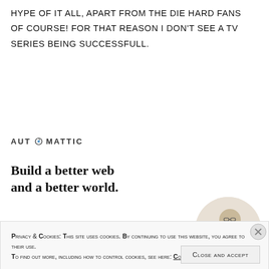hype of it all, apart from the die hard fans of course! For that reason I don't see a tv series being successfull.
[Figure (logo): Automattic logo with compass icon replacing the letter O]
[Figure (infographic): Automattic job ad: 'Build a better web and a better world.' with an Apply button and a circular photo of a man]
Privacy & Cookies: This site uses cookies. By continuing to use this website, you agree to their use. To find out more, including how to control cookies, see here: Cookie Policy
Close and accept